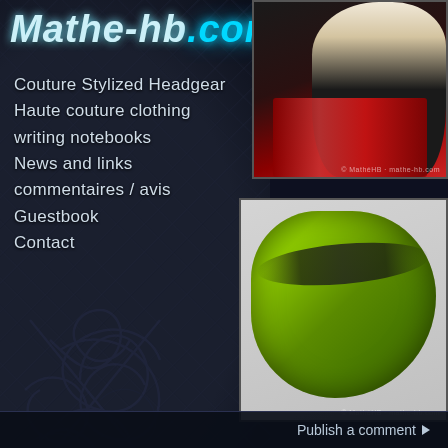Mathe-hb.com
Couture Stylized Headgear
Haute couture clothing
writing notebooks
News and links
commentaires / avis
Guestbook
Contact
[Figure (photo): Fashion mannequin wearing black fur hat and red/black scarf or fur collar, with white mannequin face, red lips]
[Figure (photo): Green and black felted/fur hat displayed on white mannequin head, yellow-green colors with dark stripes]
Publish a comment